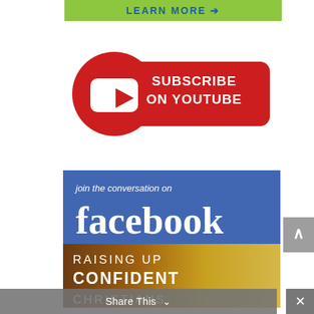[Figure (illustration): Green banner with 'LEARN MORE' text and arrow in blue, partially visible at top]
[Figure (logo): YouTube Subscribe button: red circle with white YouTube play icon on left, red rounded rectangle with 'SUBSCRIBE ON YOUTUBE' text in white on right]
[Figure (illustration): Facebook banner: blue background with 'join the conversation on facebook' text in white, below is a warm-toned nature image with 'RAISING UP CONFIDENT CHRISTIANS' text in white]
Share This
[Figure (illustration): Scroll to top button (grey, with up arrow) and close button (grey, X)]